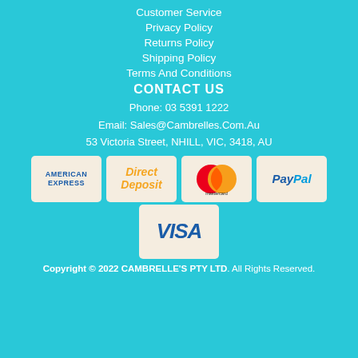Customer Service
Privacy Policy
Returns Policy
Shipping Policy
Terms And Conditions
CONTACT US
Phone: 03 5391 1222
Email: Sales@Cambrelles.Com.Au
53 Victoria Street, NHILL, VIC, 3418, AU
[Figure (logo): Payment method logos: American Express, Direct Deposit, Mastercard, PayPal, Visa]
Copyright © 2022 CAMBRELLE'S PTY LTD. All Rights Reserved.